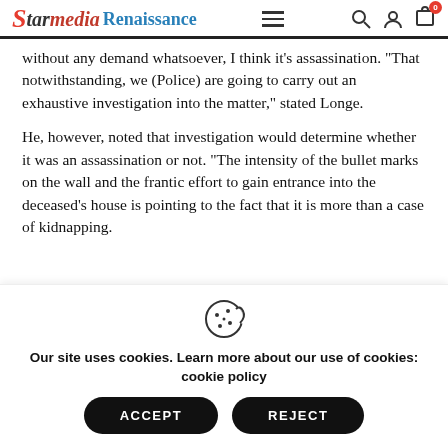Starmedia Renaissance
without any demand whatsoever, I think it’s assassination. “That notwithstanding, we (Police) are going to carry out an exhaustive investigation into the matter,” stated Longe.
He, however, noted that investigation would determine whether it was an assassination or not. “The intensity of the bullet marks on the wall and the frantic effort to gain entrance into the deceased’s house is pointing to the fact that it is more than a case of kidnapping.
Our site uses cookies. Learn more about our use of cookies: cookie policy